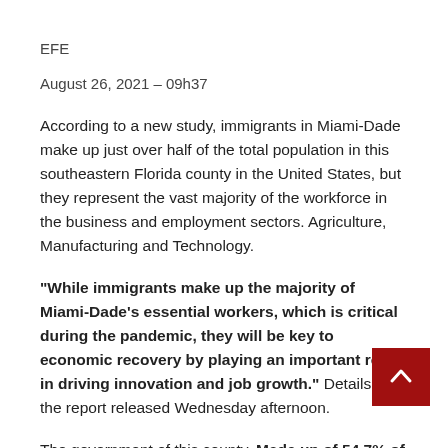EFE
August 26, 2021 – 09h37
According to a new study, immigrants in Miami-Dade make up just over half of the total population in this southeastern Florida county in the United States, but they represent the vast majority of the workforce in the business and employment sectors. Agriculture, Manufacturing and Technology.
“While immigrants make up the majority of Miami-Dade’s essential workers, which is critical during the pandemic, they will be key to economic recovery by playing an important role in driving innovation and job growth.” Details of the report released Wednesday afternoon.
The government of this county, Made up of 54.7% of immigrants. In the joint study, the Organization for the